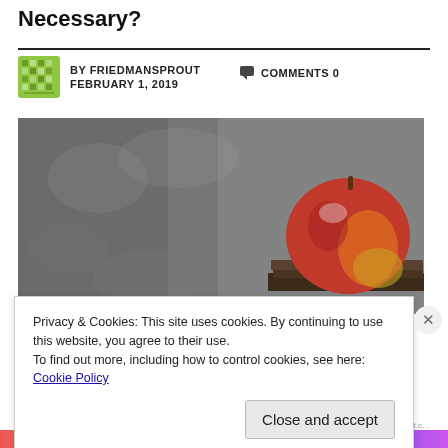Necessary?
BY FRIEDMANSPROUT   COMMENTS 0
FEBRUARY 1, 2019
[Figure (photo): A red apple sitting on top of a stack of books against a grey textured background]
Privacy & Cookies: This site uses cookies. By continuing to use this website, you agree to their use.
To find out more, including how to control cookies, see here: Cookie Policy
Close and accept